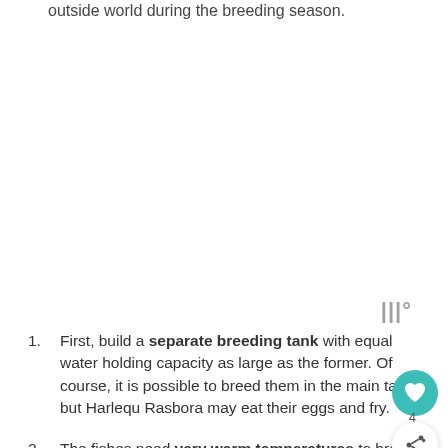outside world during the breeding season.
First, build a separate breeding tank with equal water holding capacity as large as the former. Of course, it is possible to breed them in the main tank but Harlequin Rasbora may eat their eggs and fry.
The fishes need very warm temperatures to breed,